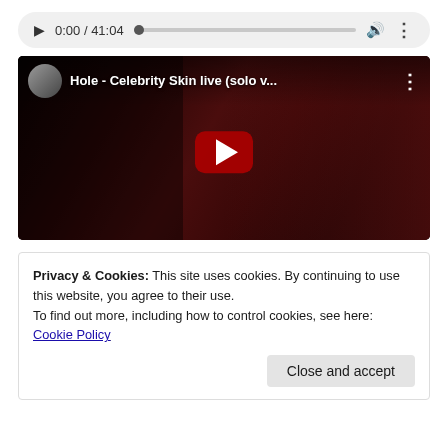[Figure (screenshot): Audio player bar showing play button, time display '0:00 / 41:04', progress bar with dot indicator, volume icon, and more options icon on a light grey rounded background.]
[Figure (screenshot): YouTube video thumbnail embed showing a dark red-lit concert photo of Hole performing live, with title 'Hole - Celebrity Skin live (solo v...' and a red YouTube play button overlay.]
Privacy & Cookies: This site uses cookies. By continuing to use this website, you agree to their use.
To find out more, including how to control cookies, see here: Cookie Policy
Close and accept